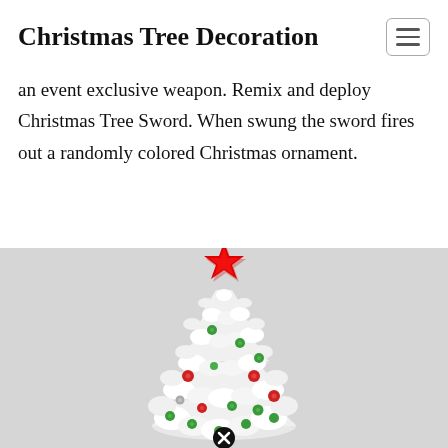Christmas Tree Decoration
an event exclusive weapon. Remix and deploy Christmas Tree Sword. When swung the sword fires out a randomly colored Christmas ornament.
[Figure (illustration): A white Christmas tree decorated with red, green, and silver ball ornaments and a red star on top, displayed on a light gray background. A black circle with an X (close/cancel button) appears near the bottom center of the tree.]